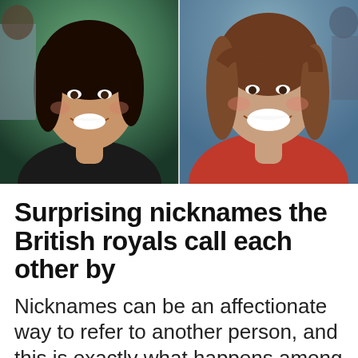[Figure (photo): Split photo showing two smiling women. Left half shows a woman with dark hair wearing a dark top, smiling broadly against a green background. Right half shows a woman with brown wavy hair wearing a red top, laughing, against a blurred outdoor background.]
Surprising nicknames the British royals call each other by
Nicknames can be an affectionate way to refer to another person, and this is exactly what happens among members of the British royal